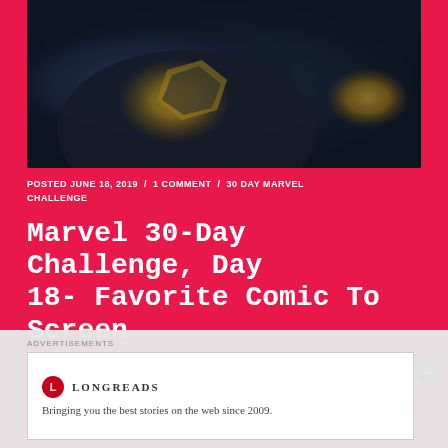[Figure (photo): Close-up photo of a Marvel superhero (Thanos or similar armored character) wearing gold and dark armor/suit, upper body visible]
POSTED JUNE 18, 2019 / 1 COMMENT / 30 DAY MARVEL CHALLENGE
Marvel 30-Day Challenge, Day 18- Favorite Comic To Screen Adaption
From the blockbuster hits that the MCU has given us to the cartoons of the 90s, Marvel has done an excellent job of adapting its characters onto the big and small screens. I'd think
ADVERTISEMENTS
[Figure (logo): Longreads advertisement box with circular red logo with L, text LONGREADS and tagline: Bringing you the best stories on the web since 2009.]